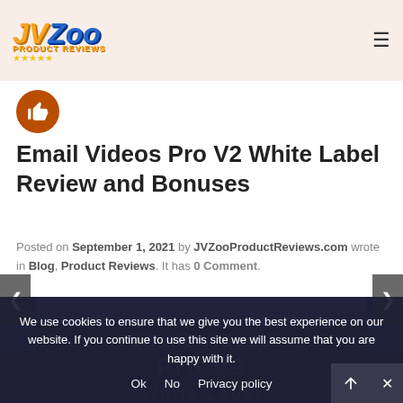JVZoo Product Reviews
[Figure (logo): JVZoo Product Reviews logo with orange/blue stylized text and stars]
Email Videos Pro V2 White Label Review and Bonuses
Posted on September 1, 2021 by JVZooProductReviews.com wrote in Blog, Product Reviews. It has 0 Comment.
[Figure (other): Purple/dark blue promotional banner for Email Videos Pro V2 White Label with watermark text]
We use cookies to ensure that we give you the best experience on our website. If you continue to use this site we will assume that you are happy with it.
Ok  No  Privacy policy